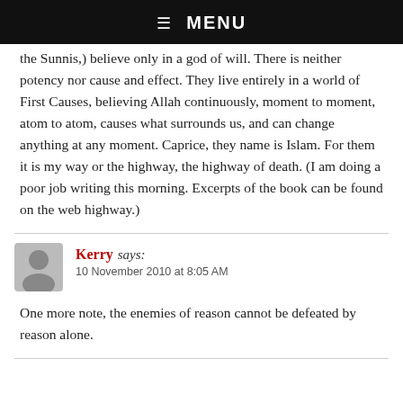☰ MENU
the Sunnis,) believe only in a god of will. There is neither potency nor cause and effect. They live entirely in a world of First Causes, believing Allah continuously, moment to moment, atom to atom, causes what surrounds us, and can change anything at any moment. Caprice, they name is Islam. For them it is my way or the highway, the highway of death. (I am doing a poor job writing this morning. Excerpts of the book can be found on the web highway.)
Kerry says:
10 November 2010 at 8:05 AM
One more note, the enemies of reason cannot be defeated by reason alone.